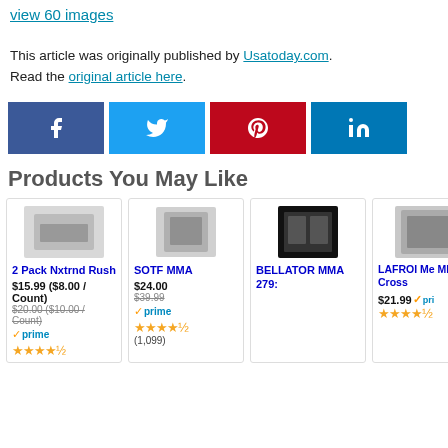view 60 images
This article was originally published by Usatoday.com. Read the original article here.
[Figure (other): Social share buttons: Facebook, Twitter, Pinterest, LinkedIn]
Products You May Like
[Figure (other): Product card: 2 Pack Nxtrnd Rush, $15.99 ($8.00 / Count), was $20.00 ($10.00 / Count), prime, 4.5 stars]
[Figure (other): Product card: SOTF MMA, $24.00, was $39.99, prime, 4.5 stars, (1,099)]
[Figure (other): Product card: BELLATOR MMA 279:]
[Figure (other): Product card: LAFROI Me MMA Cross, $21.99, prime, 4.5 stars]